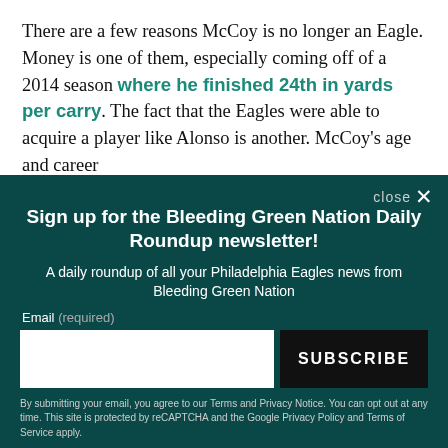There are a few reasons McCoy is no longer an Eagle. Money is one of them, especially coming off of a 2014 season where he finished 24th in yards per carry. The fact that the Eagles were able to acquire a player like Alonso is another. McCoy's age and career
[Figure (screenshot): Modal popup overlay with dark teal background. Contains 'close X' button, newsletter signup heading 'Sign up for the Bleeding Green Nation Daily Roundup newsletter!', subtitle, email input field, SUBSCRIBE button, and legal disclaimer text.]